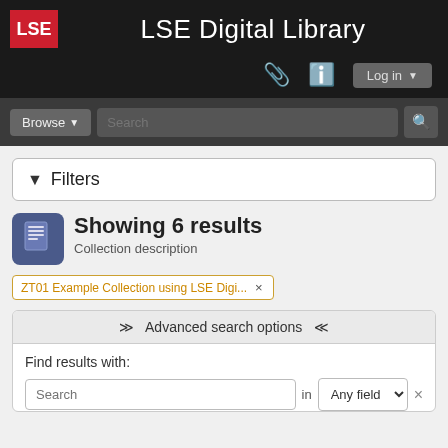LSE Digital Library
Browse
Search
Filters
Showing 6 results
Collection description
ZT01 Example Collection using LSE Digi... ×
Advanced search options
Find results with:
Search in Any field ×